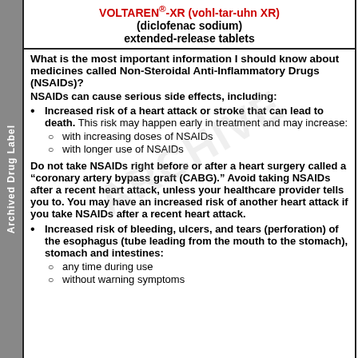VOLTAREN®-XR (vohl-tar-uhn XR) (diclofenac sodium) extended-release tablets
What is the most important information I should know about medicines called Non-Steroidal Anti-Inflammatory Drugs (NSAIDs)?
NSAIDs can cause serious side effects, including:
Increased risk of a heart attack or stroke that can lead to death. This risk may happen early in treatment and may increase:
with increasing doses of NSAIDs
with longer use of NSAIDs
Do not take NSAIDs right before or after a heart surgery called a “coronary artery bypass graft (CABG).” Avoid taking NSAIDs after a recent heart attack, unless your healthcare provider tells you to. You may have an increased risk of another heart attack if you take NSAIDs after a recent heart attack.
Increased risk of bleeding, ulcers, and tears (perforation) of the esophagus (tube leading from the mouth to the stomach), stomach and intestines:
any time during use
without warning symptoms